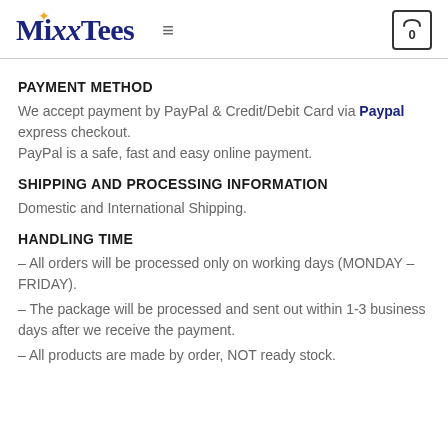MixxTees
PAYMENT METHOD
We accept payment by PayPal & Credit/Debit Card via Paypal express checkout.
PayPal is a safe, fast and easy online payment.
SHIPPING AND PROCESSING INFORMATION
Domestic and International Shipping.
HANDLING TIME
– All orders will be processed only on working days (MONDAY – FRIDAY).
– The package will be processed and sent out within 1-3 business days after we receive the payment.
– All products are made by order, NOT ready stock.